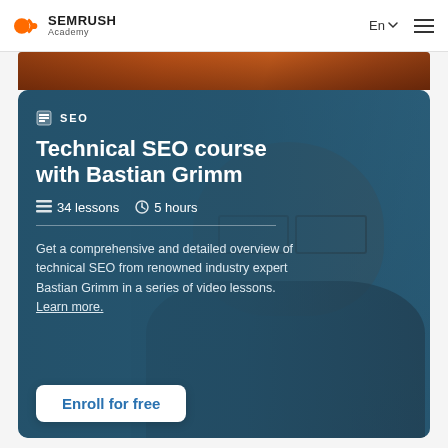SEMRUSH Academy — En — (menu)
[Figure (screenshot): Brown/copper background banner strip below header]
[Figure (photo): Blue course card with background photo of Bastian Grimm (man with glasses) overlaid with blue tint]
SEO
Technical SEO course with Bastian Grimm
34 lessons  5 hours
Get a comprehensive and detailed overview of technical SEO from renowned industry expert Bastian Grimm in a series of video lessons. Learn more.
Enroll for free